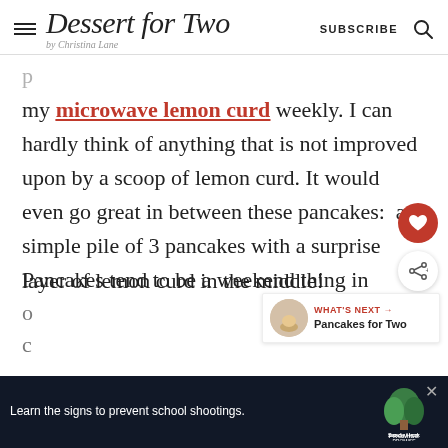Dessert for Two by Christina Lane — SUBSCRIBE
my microwave lemon curd weekly. I can hardly think of anything that is not improved upon by a scoop of lemon curd. It would even go great in between these pancakes:  a simple pile of 3 pancakes with a surprise layer of lemon curd in the middle!
Pancakes tend to be a weekend thing in o… the c…
[Figure (other): Sandy Hook Promise advertisement banner: 'Learn the signs to prevent school shootings.' with Sandy Hook Promise logo on dark background]